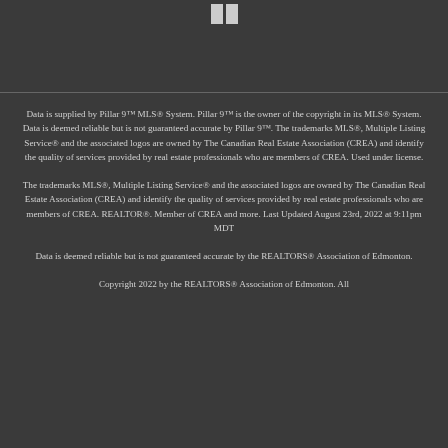[Figure (logo): Two vertical bar logo marks at the top of the page]
Data is supplied by Pillar 9™ MLS® System. Pillar 9™ is the owner of the copyright in its MLS® System. Data is deemed reliable but is not guaranteed accurate by Pillar 9™. The trademarks MLS®, Multiple Listing Service® and the associated logos are owned by The Canadian Real Estate Association (CREA) and identify the quality of services provided by real estate professionals who are members of CREA. Used under license.
The trademarks MLS®, Multiple Listing Service® and the associated logos are owned by The Canadian Real Estate Association (CREA) and identify the quality of services provided by real estate professionals who are members of CREA. REALTOR®. Member of CREA and more. Last Updated August 23rd, 2022 at 9:11pm MDT
Data is deemed reliable but is not guaranteed accurate by the REALTORS® Association of Edmonton.
Copyright 2022 by the REALTORS® Association of Edmonton. All